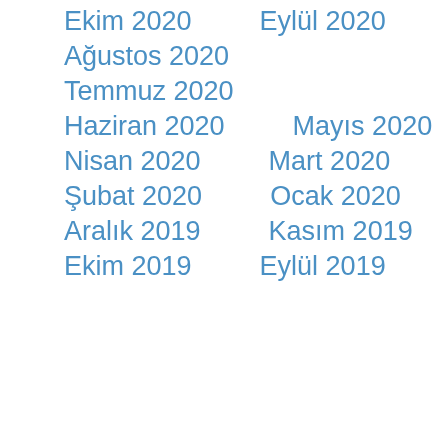Ekim 2020
Eylül 2020
Ağustos 2020
Temmuz 2020
Haziran 2020
Mayıs 2020
Nisan 2020
Mart 2020
Şubat 2020
Ocak 2020
Aralık 2019
Kasım 2019
Ekim 2019
Eylül 2019